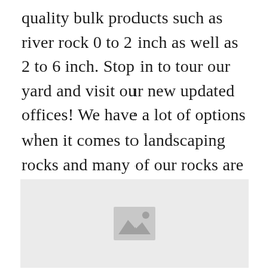quality bulk products such as river rock 0 to 2 inch as well as 2 to 6 inch. Stop in to tour our yard and visit our new updated offices! We have a lot of options when it comes to landscaping rocks and many of our rocks are sold in bulk. Shop our selection of bulk in the outdoors department at the home depot.
[Figure (photo): Placeholder image block with a grey background and a small image placeholder icon (mountain/landscape icon) centered within it.]